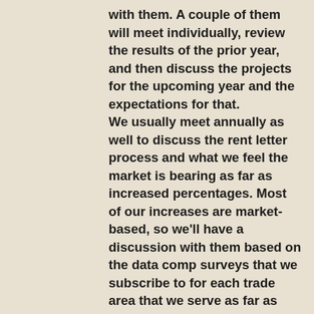with them. A couple of them will meet individually, review the results of the prior year, and then discuss the projects for the upcoming year and the expectations for that. We usually meet annually as well to discuss the rent letter process and what we feel the market is bearing as far as increased percentages. Most of our increases are market-based, so we'll have a discussion with them based on the data comp surveys that we subscribe to for each trade area that we serve as far as what those percentages need to be for the coming year.
Andrew: Very cool. What does the perfect mobile home park look like in